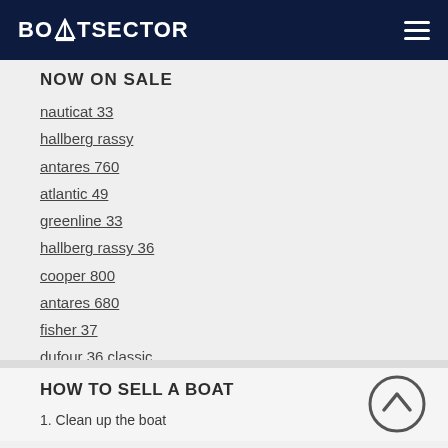BOATSECTOR
NOW ON SALE
nauticat 33
hallberg rassy
antares 760
atlantic 49
greenline 33
hallberg rassy 36
cooper 800
antares 680
fisher 37
dufour 36 classic
MARINAS
HOW TO SELL A BOAT
1. Clean up the boat